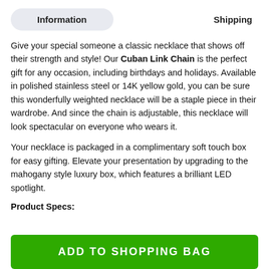Information
Shipping
Give your special someone a classic necklace that shows off their strength and style! Our Cuban Link Chain is the perfect gift for any occasion, including birthdays and holidays. Available in polished stainless steel or 14K yellow gold, you can be sure this wonderfully weighted necklace will be a staple piece in their wardrobe. And since the chain is adjustable, this necklace will look spectacular on everyone who wears it.
Your necklace is packaged in a complimentary soft touch box for easy gifting. Elevate your presentation by upgrading to the mahogany style luxury box, which features a brilliant LED spotlight.
Product Specs:
ADD TO SHOPPING BAG